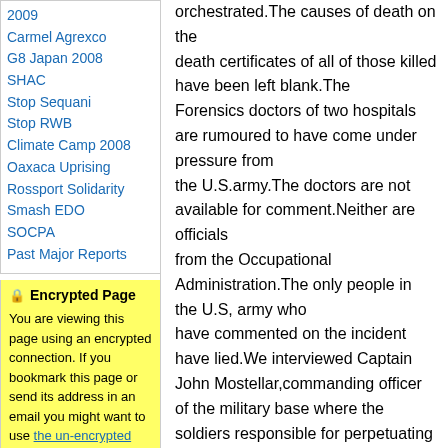2009
Carmel Agrexco
G8 Japan 2008
SHAC
Stop Sequani
Stop RWB
Climate Camp 2008
Oaxaca Uprising
Rossport Solidarity
Smash EDO
SOCPA
Past Major Reports
🔒 Encrypted Page
You are viewing this page using an encrypted connection. If you bookmark this page or send its address in an email you might want to use the un-encrypted address of this page.
If you recieved a warning
orchestrated.The causes of death on the death certificates of all of those killed have been left blank.The Forensics doctors of two hospitals are rumoured to have come under pressure from the U.S.army.The doctors are not available for comment.Neither are officials from the Occupational Administration.The only people in the U.S, army who have commented on the incident have lied.We interviewed Captain John Mostellar,commanding officer of the military base where the soldiers responsible for perpetuating the killings are thought to be stationed.Dismissive of the incident,Mostellar claimed that an internal investigation had taken place,which would not be made public.His seniors are denying knowledge of the investigation.We were directed by Mostellar